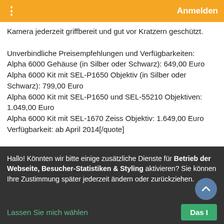⋮   Anmelden
Kamera jederzeit griffbereit und gut vor Kratzern geschützt.

Unverbindliche Preisempfehlungen und Verfügbarkeiten:
Alpha 6000 Gehäuse (in Silber oder Schwarz): 649,00 Euro
Alpha 6000 Kit mit SEL-P1650 Objektiv (in Silber oder Schwarz): 799,00 Euro
Alpha 6000 Kit mit SEL-P1650 und SEL-55210 Objektiven: 1.049,00 Euro
Alpha 6000 Kit mit SEL-1670 Zeiss Objektiv: 1.649,00 Euro
Verfügbarkeit: ab April 2014[/quote]

Bilder und eine Tabelle der wichtigsten Eigenschaften findet ihr z.B. bei Photoscala:
http://www.photoscala.de/Artikel/Systemkamera-alpha-6000
Hallo! Könnten wir bitte einige zusätzliche Dienste für Betrieb der Webseite, Besucher-Statistiken & Styling aktivieren? Sie können Ihre Zustimmung später jederzeit ändern oder zurückziehen.
Lassen Sie mich wählen
Das I...